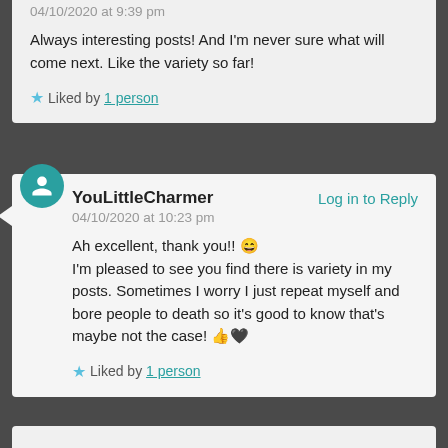04/10/2020 at 9:39 pm
Always interesting posts! And I'm never sure what will come next. Like the variety so far!
Liked by 1 person
YouLittleCharmer
Log in to Reply
04/10/2020 at 10:23 pm
Ah excellent, thank you!! 😄
I'm pleased to see you find there is variety in my posts. Sometimes I worry I just repeat myself and bore people to death so it's good to know that's maybe not the case! 👍🖤
Liked by 1 person